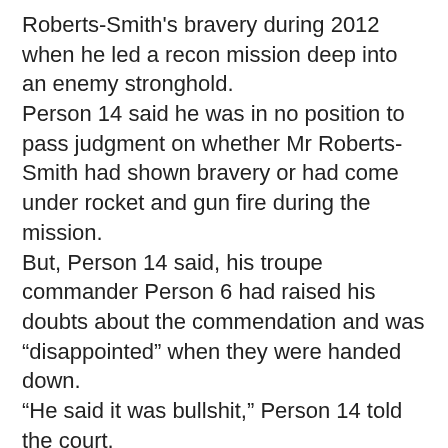Roberts-Smith's bravery during 2012 when he led a recon mission deep into an enemy stronghold.
Person 14 said he was in no position to pass judgment on whether Mr Roberts-Smith had shown bravery or had come under rocket and gun fire during the mission.
But, Person 14 said, his troupe commander Person 6 had raised his doubts about the commendation and was “disappointed” when they were handed down.
“He said it was bullshit,” Person 14 told the court.
Later Mr Moses suggested Person 14 had come to court to “throw Mr Roberts-Smith